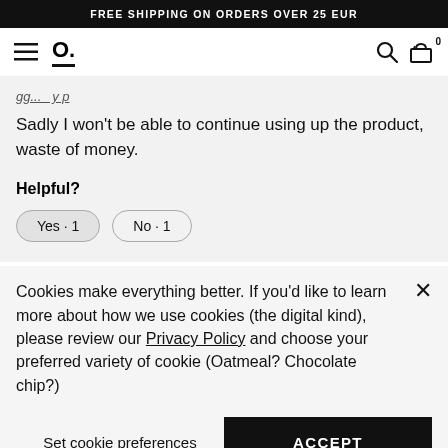FREE SHIPPING ON ORDERS OVER 25 EUR
[Figure (screenshot): Navigation bar with hamburger menu, O. logo, search icon, and cart icon with count 0]
Sadly I won't be able to continue using up the product, waste of money.
Helpful?
Yes · 1   No · 1
Cookies make everything better. If you'd like to learn more about how we use cookies (the digital kind), please review our Privacy Policy and choose your preferred variety of cookie (Oatmeal? Chocolate chip?)
Set cookie preferences
ACCEPT